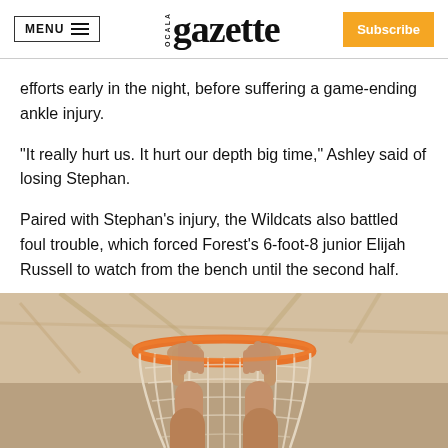MENU | OCALA gazette | Subscribe
efforts early in the night, before suffering a game-ending ankle injury.
“It really hurt us. It hurt our depth big time,” Ashley said of losing Stephan.
Paired with Stephan’s injury, the Wildcats also battled foul trouble, which forced Forest’s 6-foot-8 junior Elijah Russell to watch from the bench until the second half.
[Figure (photo): Hands reaching up to grab a basketball net (orange rim and white net), indoor gymnasium setting, warm sepia/tan tones]